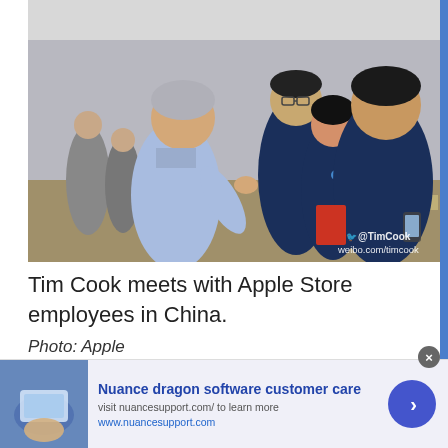[Figure (photo): Tim Cook speaking with Apple Store employees in China inside an Apple retail store. Cook is on the left in a light blue shirt, gesturing with his hands. Three employees in dark navy blue Apple uniforms are on the right, smiling. The store interior is visible in the background with Apple products on display tables. A Weibo watermark reads '@TimCook weibo.com/timcook' in the bottom right corner.]
Tim Cook meets with Apple Store employees in China. Photo: Apple
Nuance dragon software customer care
visit nuancesupport.com/ to learn more
www.nuancesupport.com